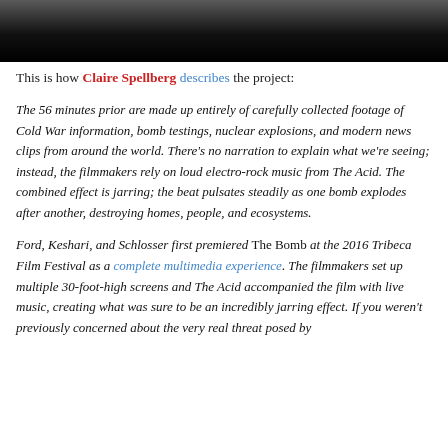[Figure (photo): Dark photograph with black lower portion, grayish upper portion suggesting a film still or archival image]
This is how Claire Spellberg describes the project:
The 56 minutes prior are made up entirely of carefully collected footage of Cold War information, bomb testings, nuclear explosions, and modern news clips from around the world. There's no narration to explain what we're seeing; instead, the filmmakers rely on loud electro-rock music from The Acid. The combined effect is jarring; the beat pulsates steadily as one bomb explodes after another, destroying homes, people, and ecosystems.
Ford, Keshari, and Schlosser first premiered The Bomb at the 2016 Tribeca Film Festival as a complete multimedia experience. The filmmakers set up multiple 30-foot-high screens and The Acid accompanied the film with live music, creating what was sure to be an incredibly jarring effect. If you weren't previously concerned about the very real threat posed by